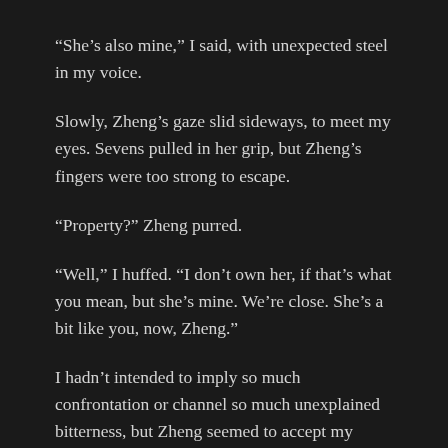“She’s also mine,” I said, with unexpected steel in my voice.
Slowly, Zheng’s gaze slid sideways, to meet my eyes. Sevens pulled in her grip, but Zheng’s fingers were too strong to escape.
“Property?” Zheng purred.
“Well,” I huffed. “I don’t own her, if that’s what you mean, but she’s mine. We’re close. She’s a bit like you, now, Zheng.”
I hadn’t intended to imply so much confrontation or channel so much unexplained bitterness, but Zheng seemed to accept my explanation. She turned back to Sevens, gave her one big, toothy flash, then finally let her go.
But Sevens was not content to retreat and lick her